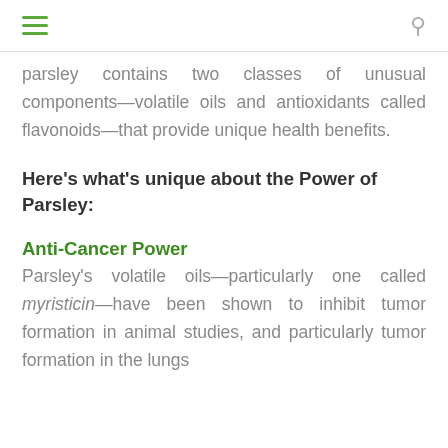[hamburger menu icon] [search icon]
parsley contains two classes of unusual components—volatile oils and antioxidants called flavonoids—that provide unique health benefits.
Here's what's unique about the Power of Parsley:
Anti-Cancer Power
Parsley's volatile oils—particularly one called myristicin—have been shown to inhibit tumor formation in animal studies, and particularly tumor formation in the lungs